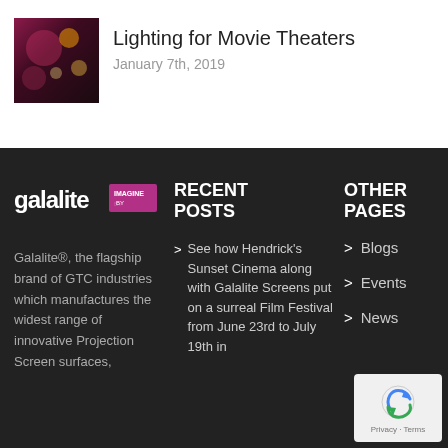[Figure (photo): Thumbnail photo of movie theater with pink/magenta lighting and ceiling lights]
Lighting for Movie Theaters
January 7th, 2019
[Figure (logo): Galalite logo with Imagine badge in magenta]
Galalite®, the flagship brand of GTC industries which manufactures the widest range of innovative Projection Screen surfaces,
RECENT POSTS
See how Hendrick's Sunset Cinema along with Galalite Screens put on a surreal Film Festival from June 23rd to July 19th in
OTHER PAGES
Blogs
Events
News